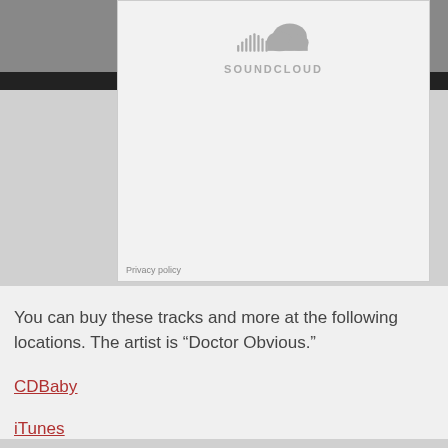[Figure (logo): SoundCloud logo and branding inside an embedded widget panel with light gray background]
Privacy policy
You can buy these tracks and more at the following locations. The artist is “Doctor Obvious.”
CDBaby
iTunes